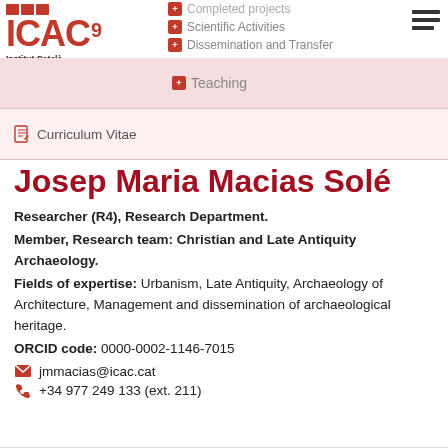[Figure (logo): ICAC logo - Institut Català d'Arqueologia Clàssica with red squares and text]
Completed projects | Scientific Activities | Dissemination and Transfer | Teaching
Curriculum Vitae
Josep Maria Macias Solé
Researcher (R4), Research Department. Member, Research team: Christian and Late Antiquity Archaeology. Fields of expertise: Urbanism, Late Antiquity, Archaeology of Architecture, Management and dissemination of archaeological heritage. ORCID code: 0000-0002-1146-7015
jmmacias@icac.cat
+34 977 249 133 (ext. 211)